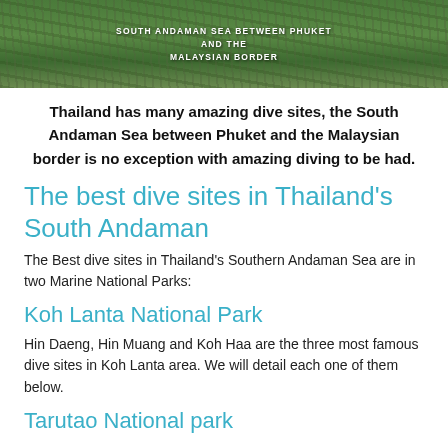[Figure (photo): Aerial or landscape photo of forested area with text overlay: SOUTH ANDAMAN SEA BETWEEN PHUKET AND THE MALAYSIAN BORDER]
Thailand has many amazing dive sites, the South Andaman Sea between Phuket and the Malaysian border is no exception with amazing diving to be had.
The best dive sites in Thailand's South Andaman
The Best dive sites in Thailand's Southern Andaman Sea are in two Marine National Parks:
Koh Lanta National Park
Hin Daeng, Hin Muang and Koh Haa are the three most famous dive sites in Koh Lanta area. We will detail each one of them below.
Tarutao National park